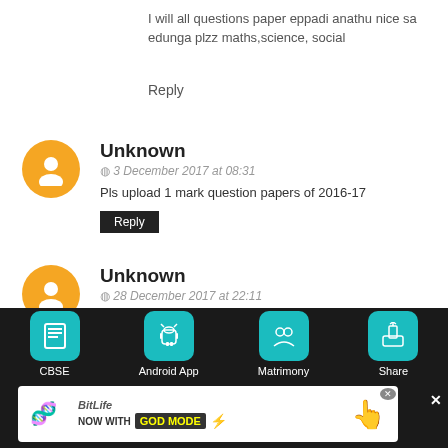I will all questions paper eppadi anathu nice sa edunga plzz maths,science, social
Reply
Unknown
3 December 2017 at 08:31
Pls upload 1 mark question papers of 2016-17
Reply
Unknown
28 December 2017 at 22:11
Pls reupload June 2017 maths question papers...it is there but we can't download it...pls just reupload it..pls.pls...
Reply
[Figure (other): Bottom navigation bar with icons: CBSE, Android App, Matrimony, Share on dark background]
[Figure (other): BitLife advertisement banner - NOW WITH GOD MODE]